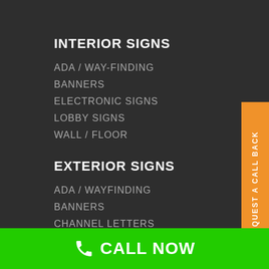INTERIOR SIGNS
ADA / WAY-FINDING
BANNERS
ELECTRONIC SIGNS
LOBBY SIGNS
WALL / FLOOR
EXTERIOR SIGNS
ADA / WAYFINDING
BANNERS
CHANNEL LETTERS
ELECTRONIC SIGNS
MONUMENT SIGNS
REQUEST A CALL BACK
CALL NOW